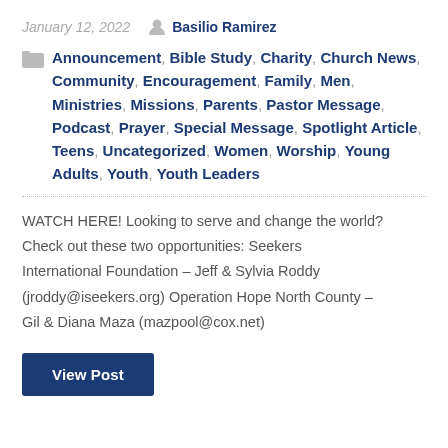January 12, 2022   Basilio Ramirez
Announcement, Bible Study, Charity, Church News, Community, Encouragement, Family, Men, Ministries, Missions, Parents, Pastor Message, Podcast, Prayer, Special Message, Spotlight Article, Teens, Uncategorized, Women, Worship, Young Adults, Youth, Youth Leaders
WATCH HERE! Looking to serve and change the world? Check out these two opportunities: Seekers International Foundation – Jeff & Sylvia Roddy (jroddy@iseekers.org) Operation Hope North County – Gil & Diana Maza (mazpool@cox.net)
View Post